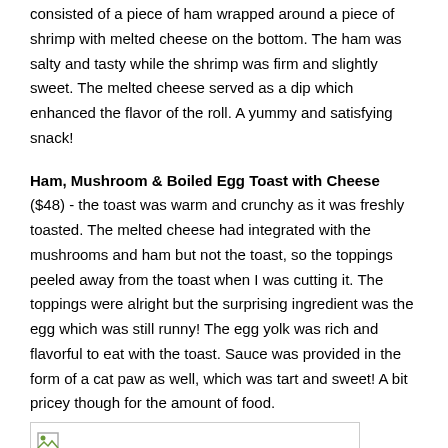consisted of a piece of ham wrapped around a piece of shrimp with melted cheese on the bottom. The ham was salty and tasty while the shrimp was firm and slightly sweet. The melted cheese served as a dip which enhanced the flavor of the roll. A yummy and satisfying snack!
Ham, Mushroom & Boiled Egg Toast with Cheese ($48) - the toast was warm and crunchy as it was freshly toasted. The melted cheese had integrated with the mushrooms and ham but not the toast, so the toppings peeled away from the toast when I was cutting it. The toppings were alright but the surprising ingredient was the egg which was still runny! The egg yolk was rich and flavorful to eat with the toast. Sauce was provided in the form of a cat paw as well, which was tart and sweet! A bit pricey though for the amount of food.
[Figure (photo): Broken image placeholder thumbnail]